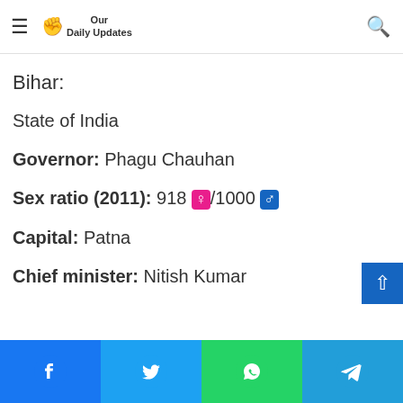Our Daily Updates
Prime Minister Narendra Modi has inaugurated and laid the foundation stones for seven urban infrastructure projects in Bihar via video conferencing. Bihar CM Nitish Kumar was also present on the occasion.
Bihar:
State of India
Governor: Phagu Chauhan
Sex ratio (2011): 918 ♀/1000 ♂
Capital: Patna
Chief minister: Nitish Kumar